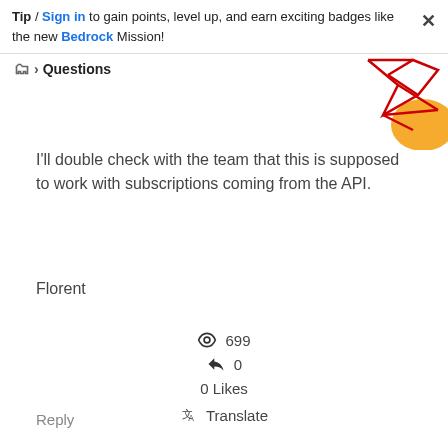Tip / Sign in to gain points, level up, and earn exciting badges like the new Bedrock Mission!
Questions
[Figure (illustration): Decorative geometric red lines and orange circle graphic in top-right corner]
I'll double check with the team that this is supposed to work with subscriptions coming from the API.
Florent
699
0
0 Likes
Translate
Reply